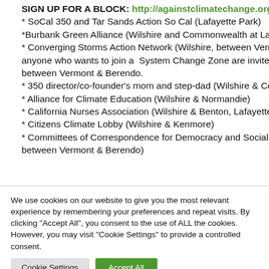SIGN UP FOR A BLOCK: http://againstclimatechange.org/
* SoCal 350 and Tar Sands Action So Cal (Lafayette Park)
*Burbank Green Alliance (Wilshire and Commonwealth at Laf...
* Converging Storms Action Network (Wilshire, between Verm... anyone who wants to join a System Change Zone are invited... between Vermont & Berendo.
* 350 director/co-founder's mom and step-dad (Wilshire & Co...
* Alliance for Climate Education (Wilshire & Normandie)
* California Nurses Association (Wilshire & Benton, Lafayette...
* Citizens Climate Lobby (Wilshire & Kenmore)
* Committees of Correspondence for Democracy and Socialis... between Vermont & Berendo)
We use cookies on our website to give you the most relevant experience by remembering your preferences and repeat visits. By clicking "Accept All", you consent to the use of ALL the cookies. However, you may visit "Cookie Settings" to provide a controlled consent.